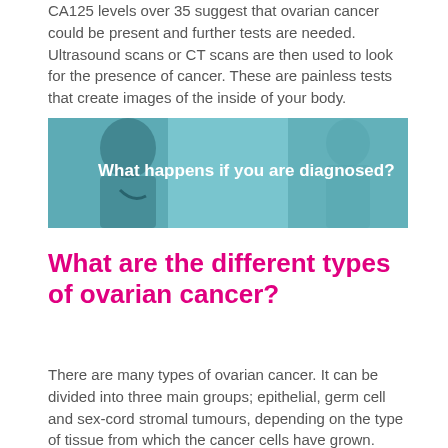CA125 levels over 35 suggest that ovarian cancer could be present and further tests are needed. Ultrasound scans or CT scans are then used to look for the presence of cancer. These are painless tests that create images of the inside of your body.
[Figure (photo): A doctor (wearing a stethoscope) speaking with a patient, with teal/blue overlay and white bold text reading 'What happens if you are diagnosed?']
What are the different types of ovarian cancer?
There are many types of ovarian cancer. It can be divided into three main groups; epithelial, germ cell and sex-cord stromal tumours, depending on the type of tissue from which the cancer cells have grown.